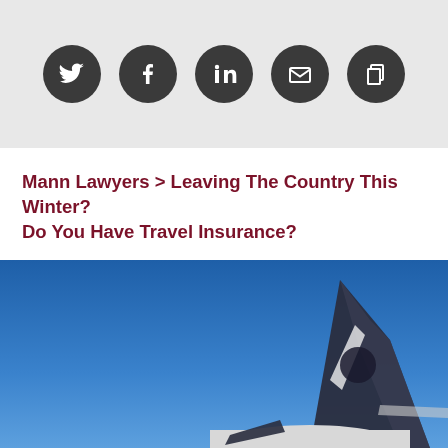[Figure (other): Social media sharing icons: Twitter, Facebook, LinkedIn, Email, Copy — white icons on dark circular buttons on a light grey background]
Mann Lawyers > Leaving The Country This Winter? Do You Have Travel Insurance?
[Figure (other): Accessibility icon — person with arms outstretched in a circle, dark red/maroon border]
[Figure (photo): Close-up of an airplane tail fin against a clear blue sky]